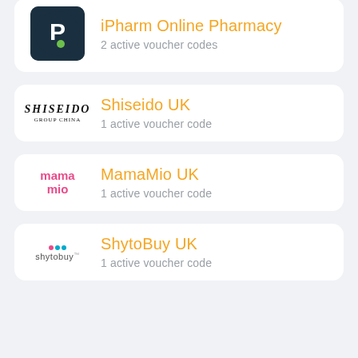[Figure (logo): iPharm Online Pharmacy logo - dark teal circle with white P letter and green dot]
iPharm Online Pharmacy
2 active voucher codes
[Figure (logo): Shiseido logo - black serif text]
Shiseido UK
1 active voucher code
[Figure (logo): Mama Mio logo - pink stylized text]
MamaMio UK
1 active voucher code
[Figure (logo): ShytoBuy logo with colored dots]
ShytoBuy UK
1 active voucher code